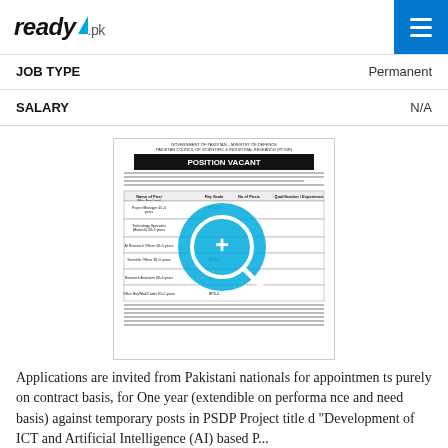ready.pk
| Field | Value |
| --- | --- |
| JOB TYPE | Permanent |
| SALARY | N/A |
[Figure (photo): Scanned government job advertisement for PCSIR (Pakistan Council of Scientific & Industrial Research) titled POSITION VACANT, showing a table of posts with pay scales and qualifications, with a zoom magnifier icon overlay.]
Applications are invited from Pakistani nationals for appointments purely on contract basis, for One year (extendible on performance and need basis) against temporary posts in PSDP Project titled "Development of ICT and Artificial Intelligence (AI) based P...